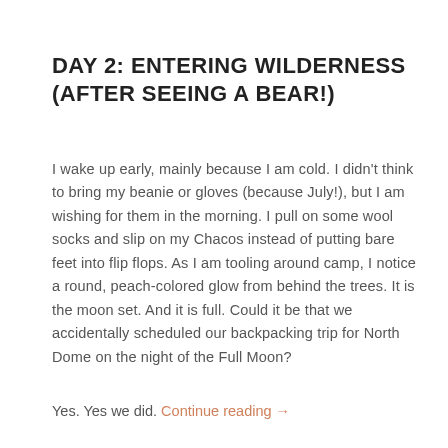DAY 2: ENTERING WILDERNESS (AFTER SEEING A BEAR!)
I wake up early, mainly because I am cold. I didn't think to bring my beanie or gloves (because July!), but I am wishing for them in the morning. I pull on some wool socks and slip on my Chacos instead of putting bare feet into flip flops. As I am tooling around camp, I notice a round, peach-colored glow from behind the trees. It is the moon set. And it is full. Could it be that we accidentally scheduled our backpacking trip for North Dome on the night of the Full Moon?
Yes. Yes we did. Continue reading →